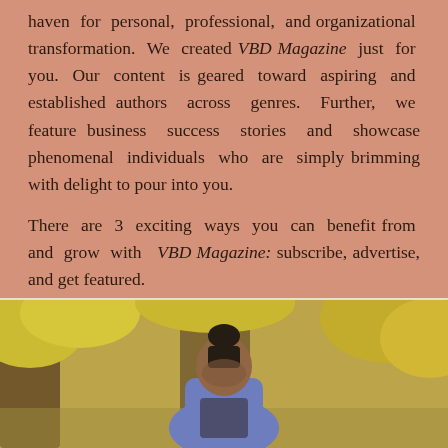haven for personal, professional, and organizational transformation. We created VBD Magazine just for you. Our content is geared toward aspiring and established authors across genres. Further, we feature business success stories and showcase phenomenal individuals who are simply brimming with delight to pour into you.

There are 3 exciting ways you can benefit from and grow with VBD Magazine: subscribe, advertise, and get featured.
[Figure (photo): A young woman with braided hair in a bun, wearing a blue denim jacket, looking downward, photographed outdoors with autumn yellow foliage and trees in the background.]